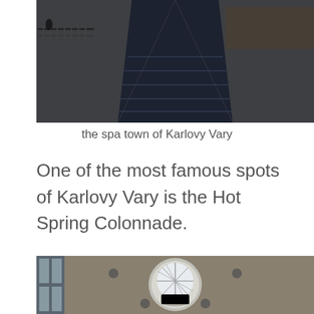[Figure (photo): Aerial/street-level view of a narrow canal or river running between two parallel stone embankments in the spa town of Karlovy Vary, with buildings visible in the background and a railing on the left side.]
the spa town of Karlovy Vary
One of the most famous spots of Karlovy Vary is the Hot Spring Colonnade.
[Figure (photo): Interior ceiling view of the Hot Spring Colonnade in Karlovy Vary, showing a circular skylight with geometric glass panes and structural metal lines, set into a gray/beige ceiling with recessed circular vents, and windows visible on the left side.]